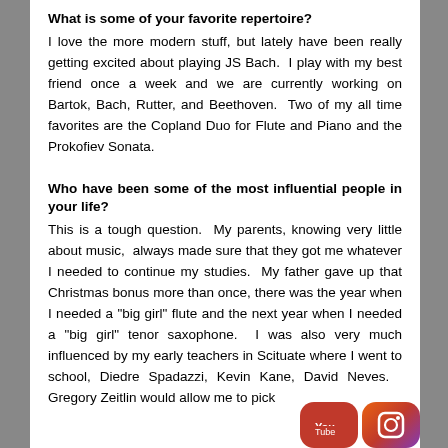What is some of your favorite repertoire?
I love the more modern stuff, but lately have been really getting excited about playing JS Bach. I play with my best friend once a week and we are currently working on Bartok, Bach, Rutter, and Beethoven. Two of my all time favorites are the Copland Duo for Flute and Piano and the Prokofiev Sonata.
Who have been some of the most influential people in your life?
This is a tough question. My parents, knowing very little about music, always made sure that they got me whatever I needed to continue my studies. My father gave up that Christmas bonus more than once, there was the year when I needed a "big girl" flute and the next year when I needed a "big girl" tenor saxophone. I was also very much influenced by my early teachers in Scituate where I went to school, Diedre Spadazzi, Kevin Kane, David Neves. Gregory Zeitlin would allow me to pick